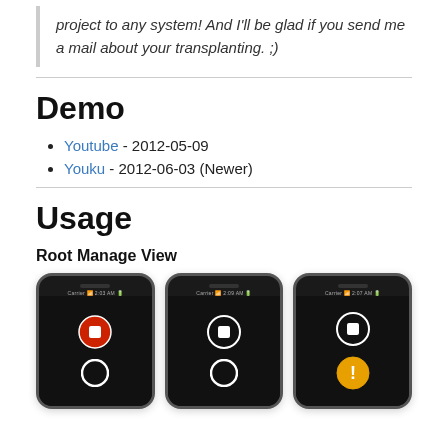project to any system! And I'll be glad if you send me a mail about your transplanting. ;)
Demo
Youtube - 2012-05-09
Youku - 2012-06-03 (Newer)
Usage
Root Manage View
[Figure (screenshot): Three iPhone screenshots showing a Root Manage View with recording buttons. First phone shows a red record button and white circle button. Second shows a white record button and white circle button. Third shows a white record button with an orange warning button below.]